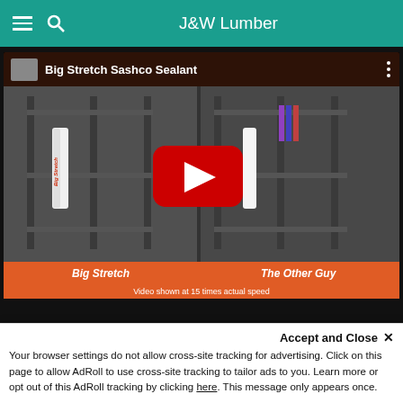J&W Lumber
[Figure (screenshot): YouTube video thumbnail for 'Big Stretch Sashco Sealant' showing a side-by-side comparison of Big Stretch sealant vs The Other Guy in testing machines, with a YouTube play button overlay. Caption reads 'Video shown at 15 times actual speed'.]
[Figure (screenshot): Partial banner/advertisement strip visible below the video.]
Accept and Close ✕
Your browser settings do not allow cross-site tracking for advertising. Click on this page to allow AdRoll to use cross-site tracking to tailor ads to you. Learn more or opt out of this AdRoll tracking by clicking here. This message only appears once.